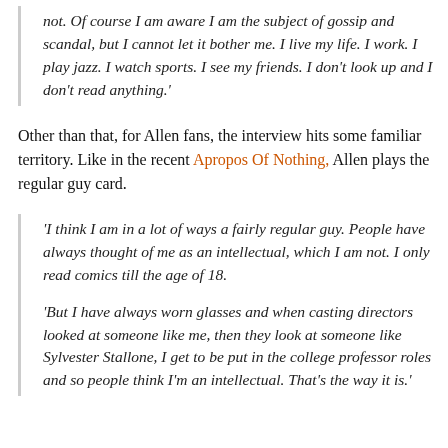not. Of course I am aware I am the subject of gossip and scandal, but I cannot let it bother me. I live my life. I work. I play jazz. I watch sports. I see my friends. I don't look up and I don't read anything.'
Other than that, for Allen fans, the interview hits some familiar territory. Like in the recent Apropos Of Nothing, Allen plays the regular guy card.
'I think I am in a lot of ways a fairly regular guy. People have always thought of me as an intellectual, which I am not. I only read comics till the age of 18.
'But I have always worn glasses and when casting directors looked at someone like me, then they look at someone like Sylvester Stallone, I get to be put in the college professor roles and so people think I'm an intellectual. That's the way it is.'